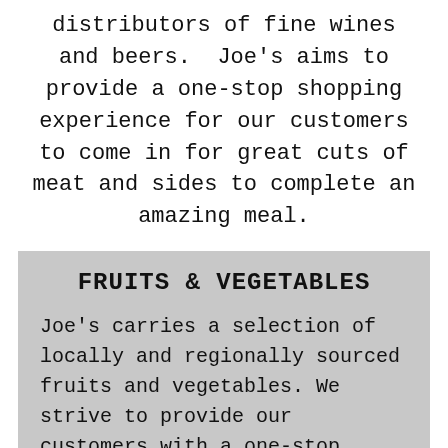distributors of fine wines and beers.  Joe's aims to provide a one-stop shopping experience for our customers to come in for great cuts of meat and sides to complete an amazing meal.
FRUITS & VEGETABLES
Joe's carries a selection of locally and regionally sourced fruits and vegetables. We strive to provide our customers with a one-stop shopping experience for meals. We carry all that you need for typical meal sides